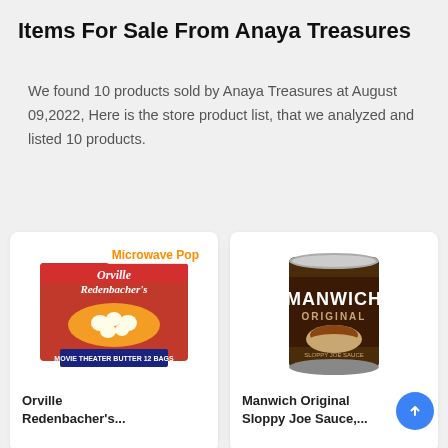Items For Sale From Anaya Treasures
We found 10 products sold by Anaya Treasures at August 09,2022, Here is the store product list, that we analyzed and listed 10 products.
[Figure (photo): Orville Redenbacher's Microwave Popcorn product box, Movie Theater Butter flavor, 12 bags]
Orville Redenbacher's...
[Figure (photo): Manwich Original Sloppy Joe Sauce can with a sloppy joe sandwich image on the label]
Manwich Original Sloppy Joe Sauce,...